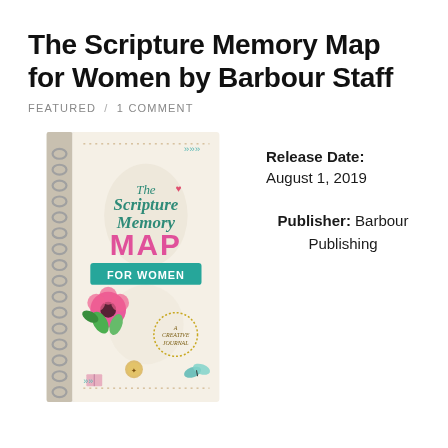The Scripture Memory Map for Women by Barbour Staff
FEATURED / 1 COMMENT
[Figure (illustration): Book cover of 'The Scripture Memory Map for Women: A Creative Journal' with spiral binding, floral decorations, teal banner, compass, butterfly, and open book illustrations on a cream background.]
Release Date:
August 1, 2019

Publisher: Barbour Publishing